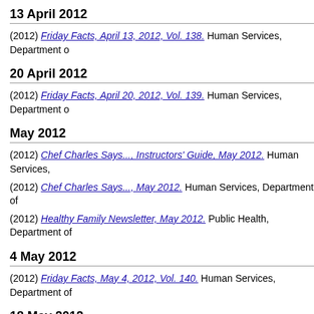13 April 2012
(2012) Friday Facts, April 13, 2012, Vol. 138. Human Services, Department o
20 April 2012
(2012) Friday Facts, April 20, 2012, Vol. 139. Human Services, Department o
May 2012
(2012) Chef Charles Says..., Instructors' Guide, May 2012. Human Services,
(2012) Chef Charles Says..., May 2012. Human Services, Department of
(2012) Healthy Family Newsletter, May 2012. Public Health, Department of
4 May 2012
(2012) Friday Facts, May 4, 2012, Vol. 140. Human Services, Department of
18 May 2012
(2012) Friday Facts, May 18, 2012, Vol. 141. Human Services, Department o
25 May 2012